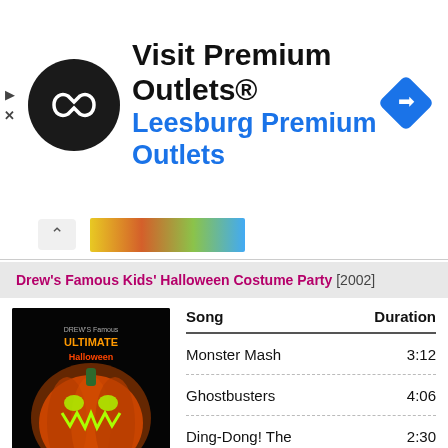[Figure (infographic): Advertisement banner for Visit Premium Outlets - Leesburg Premium Outlets, with circular dark logo containing infinity-like symbol, blue navigation diamond icon on right]
Drew's Famous Kids' Halloween Costume Party [2002]
[Figure (photo): Album cover for Drew's Famous Ultimate Halloween Party Music showing a glowing jack-o-lantern with bright orange/green/red colors on dark background]
| Song | Duration |
| --- | --- |
| Monster Mash | 3:12 |
| Ghostbusters | 4:06 |
| Ding-Dong! The Witch Is Dead | 2:30 |
| Spongebob Squarepants Theme | 0:45 |
| The Witch Part... | 3:15 |